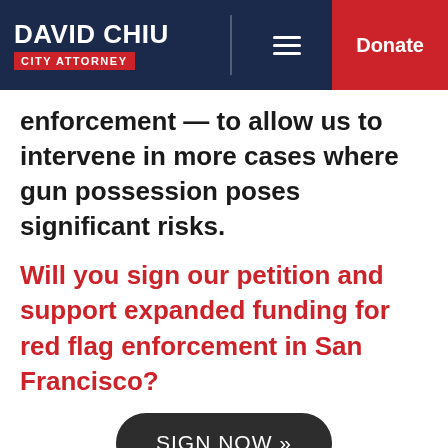David Chiu City Attorney | Donate
enforcement — to allow us to intervene in more cases where gun possession poses significant risks.
Will you sign our petition and support expanded funding for red flag enforcement in San Francisco?
SIGN NOW »
Due to a lack of funding, San Francisco